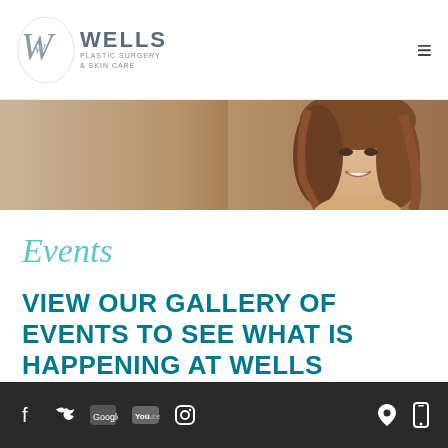[Figure (logo): Wells Plastic Surgery & Skin Care logo with stylized W monogram]
[Figure (photo): Hero banner image of a smiling woman with long brown wavy hair against brown background, cropped to show face and upper shoulders]
Events
VIEW OUR GALLERY OF EVENTS TO SEE WHAT IS HAPPENING AT WELLS PLASTIC SURGERY
Social media icons: Facebook, Twitter, Google+, YouTube, Instagram | Map pin icon, Mobile phone icon